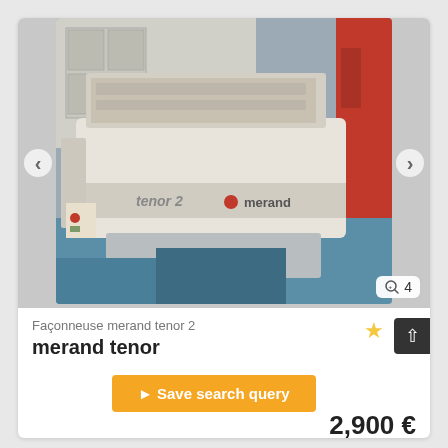[Figure (photo): Façonneuse merand tenor 2 bread-shaping machine, white with red stripe and merand logo, photographed in a workshop setting. Navigation arrows on left and right. Photo counter badge showing magnifier icon and '4'.]
Façonneuse merand tenor 2
merand tenor
Save search query
2,900 €
CNO plus VAT